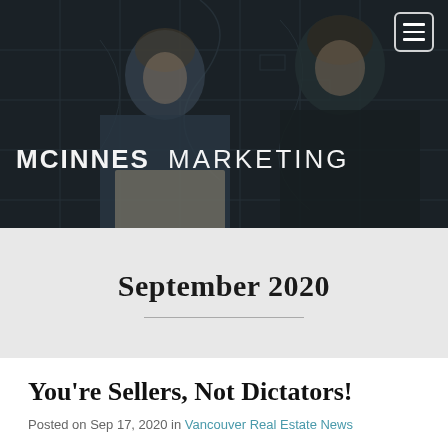[Figure (photo): Two men smiling and looking at a laptop, seated at a table. Behind them is a dark wall with a city map mural. The McInnes Marketing logo is overlaid on the image.]
MCINNES MARKETING
September 2020
You're Sellers, Not Dictators!
Posted on Sep 17, 2020 in Vancouver Real Estate News